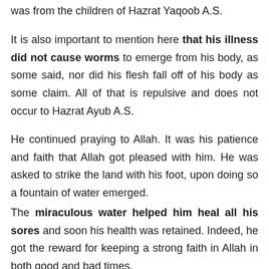was from the children of Hazrat Yaqoob A.S.
It is also important to mention here that his illness did not cause worms to emerge from his body, as some said, nor did his flesh fall off of his body as some claim. All of that is repulsive and does not occur to Hazrat Ayub A.S.
He continued praying to Allah. It was his patience and faith that Allah got pleased with him. He was asked to strike the land with his foot, upon doing so a fountain of water emerged.
The miraculous water helped him heal all his sores and soon his health was retained. Indeed, he got the reward for keeping a strong faith in Allah in both good and bad times.